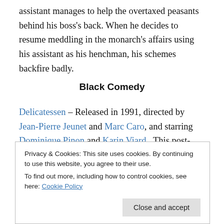assistant manages to help the overtaxed peasants behind his boss's back. When he decides to resume meddling in the monarch's affairs using his assistant as his henchman, his schemes backfire badly.
Black Comedy
Delicatessen – Released in 1991, directed by Jean-Pierre Jeunet and Marc Caro, and starring Dominique Pinon and Karin Viard.  This post-apocalyptic surrealist black comedy about a landlord of an apartment building
Privacy & Cookies: This site uses cookies. By continuing to use this website, you agree to their use. To find out more, including how to control cookies, see here: Cookie Policy